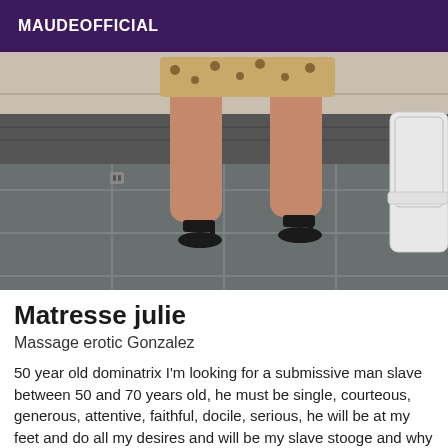MAUDEOFFICIAL
[Figure (photo): Photo of a person's legs in high heels standing on a tiled floor, with a white chair visible on the right side. The person is wearing a short leopard print skirt.]
Matresse julie
Massage erotic Gonzalez
50 year old dominatrix I'm looking for a submissive man slave between 50 and 70 years old, he must be single, courteous, generous, attentive, faithful, docile, serious, he will be at my feet and do all my desires and will be my slave stooge and why not living together so feeling